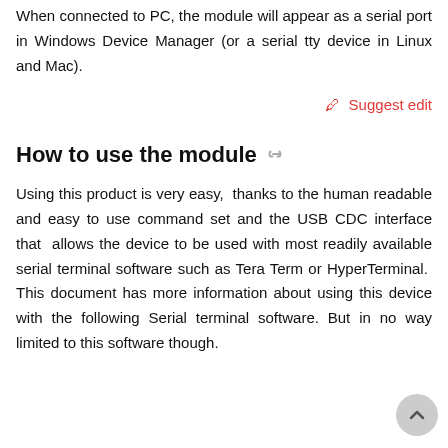When connected to PC, the module will appear as a serial port in Windows Device Manager (or a serial tty device in Linux and Mac).
✎ Suggest edit
How to use the module
Using this product is very easy,  thanks to the human readable and easy to use command set and the USB CDC interface that  allows the device to be used with most readily available serial terminal software such as Tera Term or HyperTerminal.  This document has more information about using this device with the following Serial terminal software. But in no way limited to this software though.